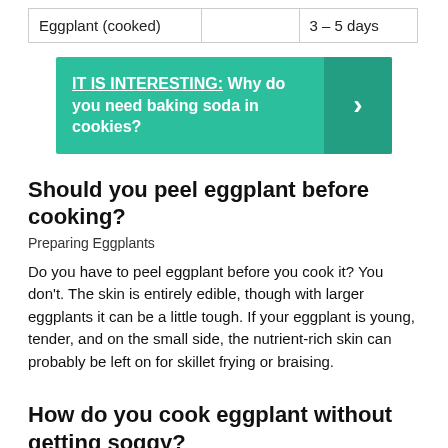| Eggplant (cooked) |  | 3 – 5 days |
[Figure (infographic): Teal banner with text: IT IS INTERESTING: Why do you need baking soda in cookies? with a right-arrow chevron on darker teal background on the right side.]
Should you peel eggplant before cooking?
Preparing Eggplants
Do you have to peel eggplant before you cook it? You don't. The skin is entirely edible, though with larger eggplants it can be a little tough. If your eggplant is young, tender, and on the small side, the nutrient-rich skin can probably be left on for skillet frying or braising.
How do you cook eggplant without getting soggy?